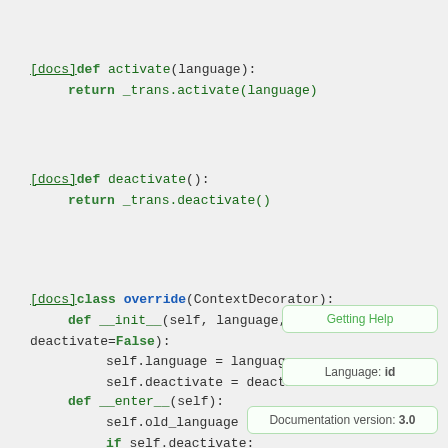[docs]def activate(language):
    return _trans.activate(language)
[docs]def deactivate():
    return _trans.deactivate()
[docs]class override(ContextDecorator):
    def __init__(self, language, deactivate=False):
        self.language = language
        self.deactivate = deactivate
    def __enter__(self):
        self.old_language = get_language()
        if self.deactivate
Getting Help
Language: id
Documentation version: 3.0